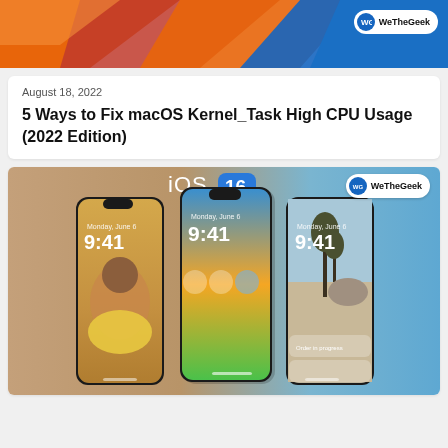[Figure (illustration): WeTheGeek website header banner with orange, blue and red geometric triangular shapes on top, and WeTheGeek logo badge in top right corner.]
August 18, 2022
5 Ways to Fix macOS Kernel_Task High CPU Usage (2022 Edition)
[Figure (photo): iOS 16 promotional image showing three iPhones with customized lock screens displaying 9:41 time. Background is gradient orange-tan to blue. Top center shows 'iOS 16' text with blue badge icon. WeTheGeek logo badge in top right. Left phone shows woman with pink hair and yellow sweater wallpaper. Center phone shows colorful abstract gradient wallpaper with widgets. Right phone shows Joshua Tree desert landscape with notification widgets.]